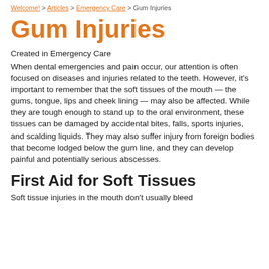Welcome! > Articles > Emergency Care > Gum Injuries
Gum Injuries
Created in Emergency Care
When dental emergencies and pain occur, our attention is often focused on diseases and injuries related to the teeth. However, it's important to remember that the soft tissues of the mouth — the gums, tongue, lips and cheek lining — may also be affected. While they are tough enough to stand up to the oral environment, these tissues can be damaged by accidental bites, falls, sports injuries, and scalding liquids. They may also suffer injury from foreign bodies that become lodged below the gum line, and they can develop painful and potentially serious abscesses.
First Aid for Soft Tissues
Soft tissue injuries in the mouth don't usually bleed